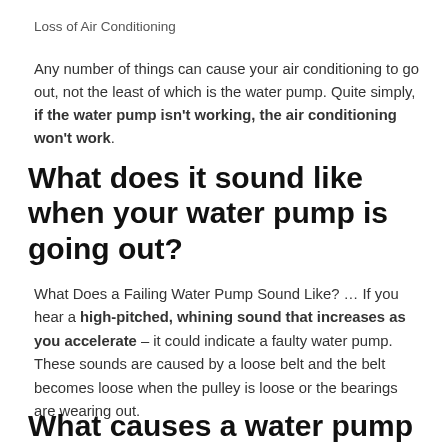Loss of Air Conditioning
Any number of things can cause your air conditioning to go out, not the least of which is the water pump. Quite simply, if the water pump isn't working, the air conditioning won't work.
What does it sound like when your water pump is going out?
What Does a Failing Water Pump Sound Like? … If you hear a high-pitched, whining sound that increases as you accelerate – it could indicate a faulty water pump. These sounds are caused by a loose belt and the belt becomes loose when the pulley is loose or the bearings are wearing out.
What causes a water pump to go